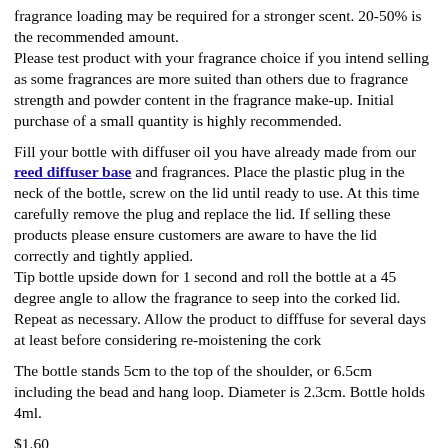fragrance loading may be required for a stronger scent. 20-50% is the recommended amount.
Please test product with your fragrance choice if you intend selling as some fragrances are more suited than others due to fragrance strength and powder content in the fragrance make-up. Initial purchase of a small quantity is highly recommended.
Fill your bottle with diffuser oil you have already made from our reed diffuser base and fragrances. Place the plastic plug in the neck of the bottle, screw on the lid until ready to use. At this time carefully remove the plug and replace the lid. If selling these products please ensure customers are aware to have the lid correctly and tightly applied.
Tip bottle upside down for 1 second and roll the bottle at a 45 degree angle to allow the fragrance to seep into the corked lid. Repeat as necessary. Allow the product to difffuse for several days at least before considering re-moistening the cork
The bottle stands 5cm to the top of the shoulder, or 6.5cm including the bead and hang loop. Diameter is 2.3cm. Bottle holds 4ml.
$1.60
Availability: 509 In Stock
1